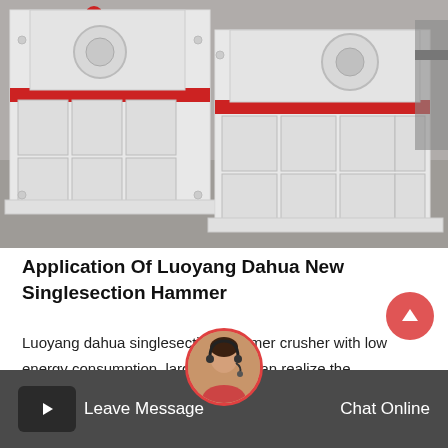[Figure (photo): Two large white and red industrial hammer crusher machines parked on a factory floor, showing the heavy machinery structure with bolted panels and ribbed base frames.]
Application Of Luoyang Dahua New Singlesection Hammer
Luoyang dahua singlesection hammer crusher with low energy consumption, large output, can realize the integration of crushing and shaping function, has been mature application in cement…
Leave Message   Chat Online